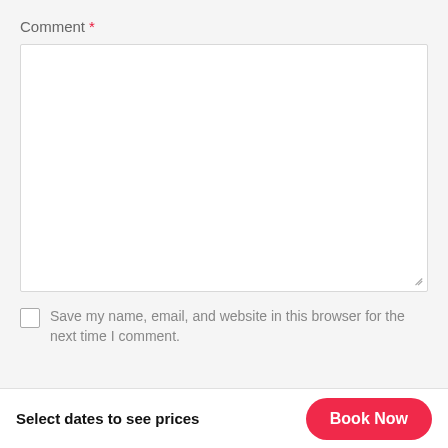Comment *
[Figure (screenshot): Empty comment textarea input box with white background and light gray border, with a resize handle in the bottom-right corner]
Save my name, email, and website in this browser for the next time I comment.
Select dates to see prices
Book Now